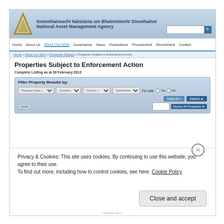[Figure (screenshot): Screenshot of the National Asset Management Agency (NAMA) website showing the 'Properties Subject to Enforcement Action' page with a cookie consent overlay.]
Gníomhaireacht Náisiúnta um Bhainistíocht Sócmhainní
National Asset Management Agency
Properties Subject to Enforcement Action
Complete Listing as at 28 February 2013
Filter Property Results by:
Privacy & Cookies: This site uses cookies. By continuing to use this website, you agree to their use.
To find out more, including how to control cookies, see here: Cookie Policy